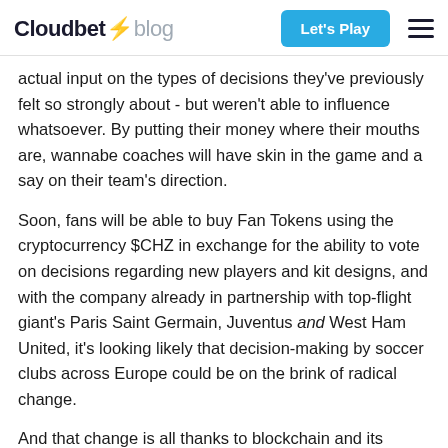Cloudbet blog | Let's Play
actual input on the types of decisions they've previously felt so strongly about - but weren't able to influence whatsoever. By putting their money where their mouths are, wannabe coaches will have skin in the game and a say on their team's direction.
Soon, fans will be able to buy Fan Tokens using the cryptocurrency $CHZ in exchange for the ability to vote on decisions regarding new players and kit designs, and with the company already in partnership with top-flight giant's Paris Saint Germain, Juventus and West Ham United, it's looking likely that decision-making by soccer clubs across Europe could be on the brink of radical change.
And that change is all thanks to blockchain and its cutting-edge technology, which is slowly but surely bringing an